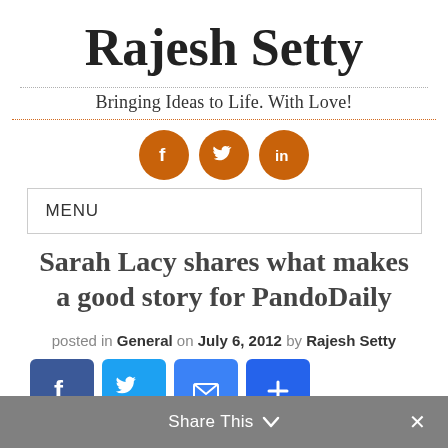Rajesh Setty
Bringing Ideas to Life. With Love!
[Figure (infographic): Three orange circular social media icons for Facebook, Twitter, and LinkedIn]
MENU
Sarah Lacy shares what makes a good story for PandoDaily
posted in General on July 6, 2012 by Rajesh Setty
[Figure (infographic): Four social share buttons: Facebook (blue), Twitter (light blue), Email (blue), Plus (blue)]
Share This  ∨  ×